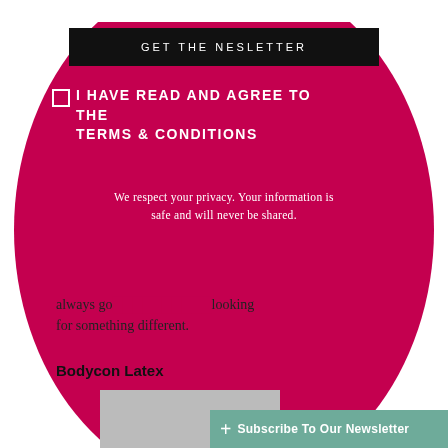GET THE NESLETTER
I HAVE READ AND AGREE TO THE TERMS & CONDITIONS
We respect your privacy. Your information is safe and will never be shared.
always go... looking for something different.
Bodycon Latex
Subscribe To Our Newsletter